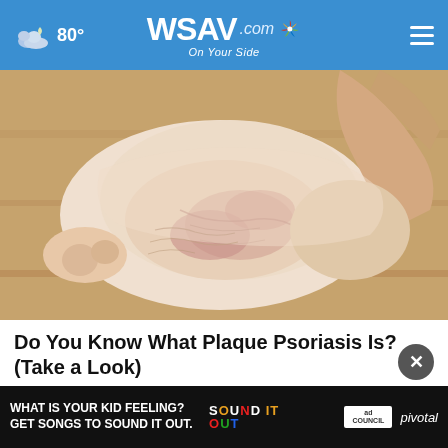80° WSAV.com On Your Side
[Figure (photo): Close-up photo of a human ankle/foot showing skin with visible redness and irritation consistent with plaque psoriasis, held by a hand, on a wooden floor background.]
Do You Know What Plaque Psoriasis Is? (Take a Look)
Search Plaque Psoriasis
[Figure (photo): Ad banner: 'WHAT IS YOUR KID FEELING? GET SONGS TO SOUND IT OUT.' with Sound It Out and Ad Council / Pivotal branding.]